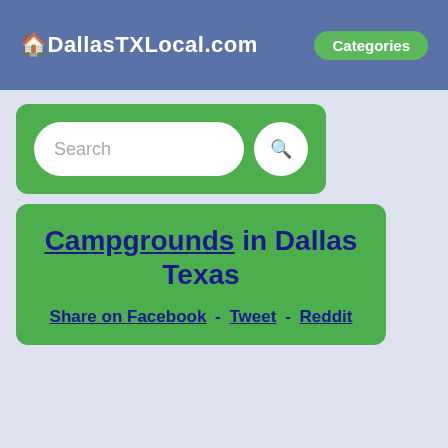🏠DallasTXLocal.com  Categories
[Figure (screenshot): Search box with text input field and search button]
Campgrounds in Dallas Texas
Share on Facebook - Tweet - Reddit